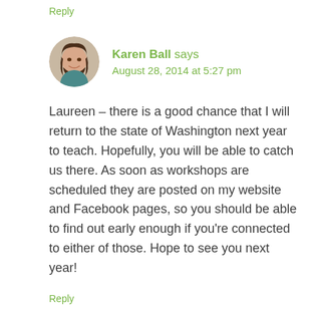Reply
Karen Ball says
August 28, 2014 at 5:27 pm
Laureen – there is a good chance that I will return to the state of Washington next year to teach. Hopefully, you will be able to catch us there. As soon as workshops are scheduled they are posted on my website and Facebook pages, so you should be able to find out early enough if you're connected to either of those. Hope to see you next year!
Reply